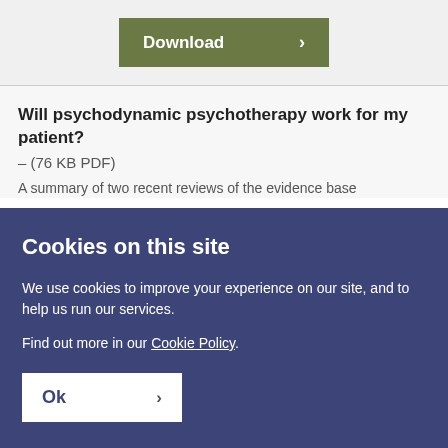Will psychodynamic psychotherapy work for my patient?
– (76 KB PDF)
A summary of two recent reviews of the evidence base
Cookies on this site
We use cookies to improve your experience on our site, and to help us run our services.
Find out more in our Cookie Policy.